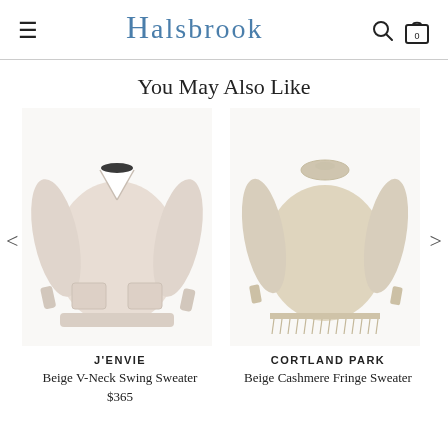≡  HALSBROOK  🔍 🛍
You May Also Like
[Figure (photo): Beige V-Neck Swing Sweater by J'ENVIE — a light pink/beige knit sweater with V-neck, long sleeves, and front patch pockets, displayed on a white background]
J'ENVIE
Beige V-Neck Swing Sweater
$365
[Figure (photo): Beige Cashmere Fringe Sweater by Cortland Park — a warm beige/cream fuzzy knit crewneck sweater with long sleeves and fringe hem detail, displayed on a white background]
CORTLAND PARK
Beige Cashmere Fringe Sweater
$—